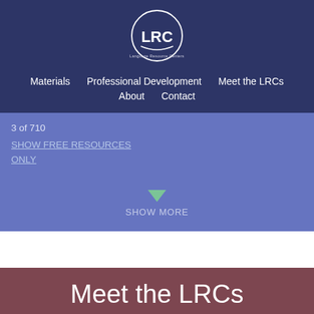[Figure (logo): LRC Language Resource Centers circular logo in white on dark navy background]
Materials   Professional Development   Meet the LRCs   About   Contact
3 of 710
SHOW FREE RESOURCES ONLY
SHOW MORE
Meet the LRCs